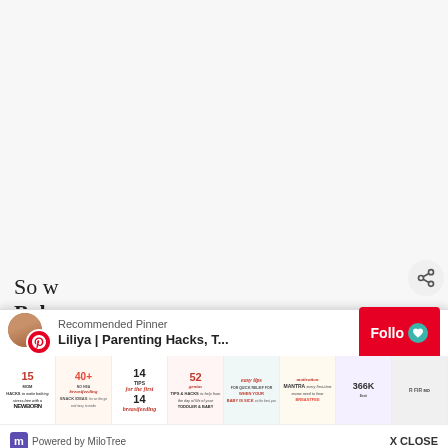[Figure (screenshot): White/light gray blank page content area above the MiloTree Pinterest popup widget]
So w
Baby
[Figure (screenshot): MiloTree Pinterest popup widget showing: Recommended Pinner, Liliya | Parenting Hacks, T..., Follow button with heart icon, strip of Pinterest pin thumbnails about Mom Hacks/Newborn, Breastfeeding Snack Ideas, 14 Tips for the first 14 Days breastfeeding, 52 Tips & Hacks Toddler & Baby, Baby is Sick, Breastfeed Mantra, 366K, and share icon. Bottom bar: Powered by MiloTree, X CLOSE]
Recommended Pinner
Liliya | Parenting Hacks, T...
Follow
Powered by MiloTree
X CLOSE